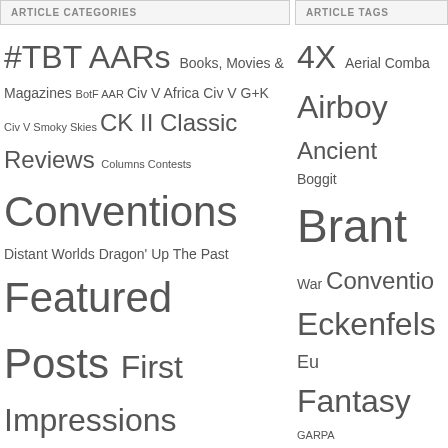ARTICLE CATEGORIES
#TBT AARs Books, Movies & Magazines BotF AAR Civ V Africa Civ V G+K Civ V Smoky Skies CK II Classic Reviews Columns Contests Conventions Distant Worlds Dragon' Up The Past Featured Posts First Impressions GARPA History How To Make It In The Game Business Interviews News Order of Battle Pacific Outpost Gamma AAR Pix and Pics Previews Research Reviews Tech Tracer Rounds Tuesday Screenshot Twilight Struggle AAR Unboxing Video
ARTICLE TAGS
4X Aerial Combat Airboy Ancient Boggit Brant War Convention Eckenfels Eu Fantasy GARPA History Industry Medieval Miniat Near Future Operational C PC Gam Sci-Fi Screen Tactical